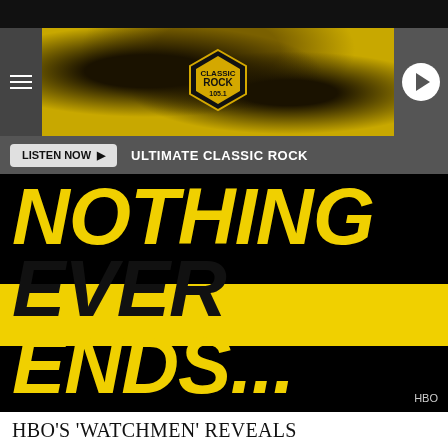[Figure (screenshot): Classic Rock 105.1 radio station banner with yellow grunge texture background, hamburger menu on left, Classic Rock 105.1 logo in center, play button on right]
LISTEN NOW ▶  ULTIMATE CLASSIC ROCK
[Figure (photo): HBO promotional image for Watchmen TV series showing 'NOTHING EVER ENDS...' text in large bold yellow letters on black background with yellow diagonal stripe, HBO credit bottom right]
HBO'S 'WATCHMEN' REVEALS